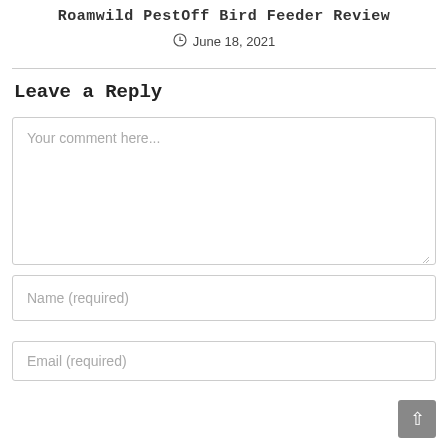Roamwild PestOff Bird Feeder Review
June 18, 2021
Leave a Reply
Your comment here...
Name (required)
Email (required)